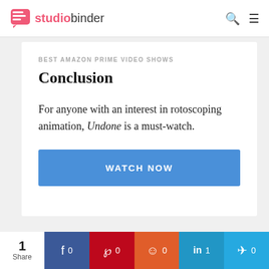studiobinder
BEST AMAZON PRIME VIDEO SHOWS
Conclusion
For anyone with an interest in rotoscoping animation, Undone is a must-watch.
WATCH NOW
1 Share | Facebook 0 | Pinterest 0 | Reddit 0 | LinkedIn 1 | Twitter 0